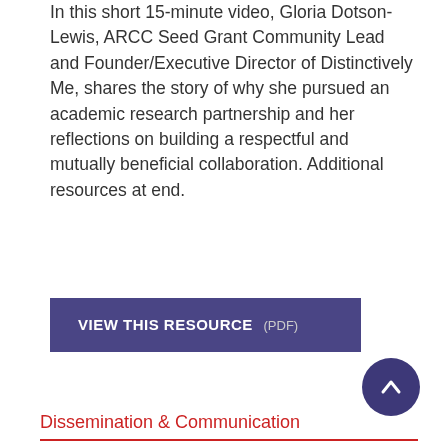In this short 15-minute video, Gloria Dotson-Lewis, ARCC Seed Grant Community Lead and Founder/Executive Director of Distinctively Me, shares the story of why she pursued an academic research partnership and her reflections on building a respectful and mutually beneficial collaboration. Additional resources at end.
VIEW THIS RESOURCE (PDF)
Dissemination & Communication